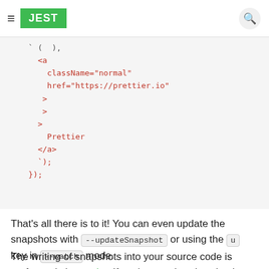JEST
[Figure (screenshot): Code snippet showing JSX with <a> element, className, href, onMouseEnter, onMouseLeave attributes, child text 'Prettier', and closing tag, followed by backtick paren semicolon and closing braces]
That's all there is to it! You can even update the snapshots with --updateSnapshot or using the u key in --watch mode.
The writing of snapshots into your source code is performed via prettier. If you're not already using it